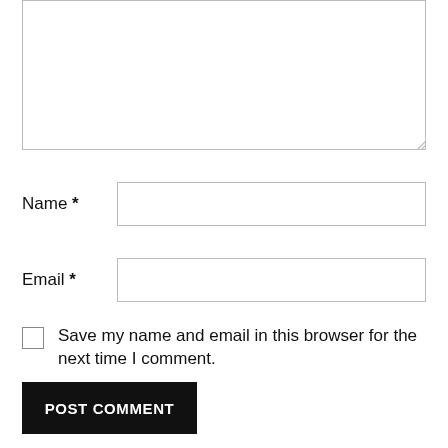[Figure (screenshot): Empty textarea input box with resize handle in bottom-right corner]
Name *
[Figure (screenshot): Empty Name text input field]
Email *
[Figure (screenshot): Empty Email text input field]
Save my name and email in this browser for the next time I comment.
POST COMMENT
This site uses Akismet to reduce spam. Learn how your